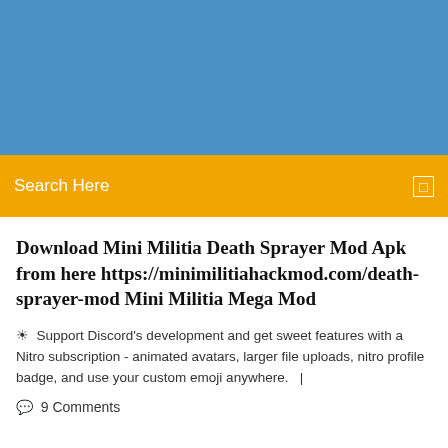[Figure (other): Blue banner/header background image area]
Search Here
Download Mini Militia Death Sprayer Mod Apk from here https://minimilitiahackmod.com/death-sprayer-mod Mini Militia Mega Mod
Support Discord's development and get sweet features with a Nitro subscription - animated avatars, larger file uploads, nitro profile badge, and use your custom emoji anywhere.   |
9 Comments